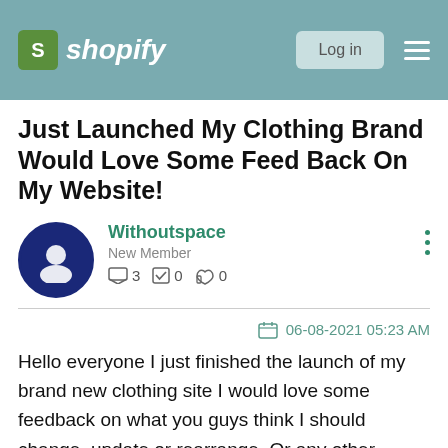shopify | Log in
Just Launched My Clothing Brand Would Love Some Feed Back On My Website!
Withoutspace
New Member
3  0  0
06-08-2021 05:23 AM
Hello everyone I just finished the launch of my brand new clothing site I would love some feedback on what you guys think I should change, update or rearrange. Or any other criticism or input you guys are willing to give me. Sales haven't been the greatest since release I'm giving it